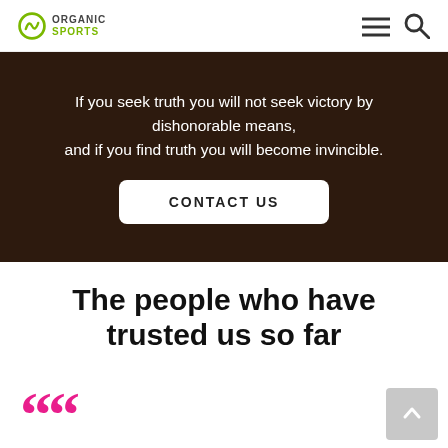ORGANIC SPORTS
If you seek truth you will not seek victory by dishonorable means, and if you find truth you will become invincible.
CONTACT US
The people who have trusted us so far
Your template has been one of the easiest